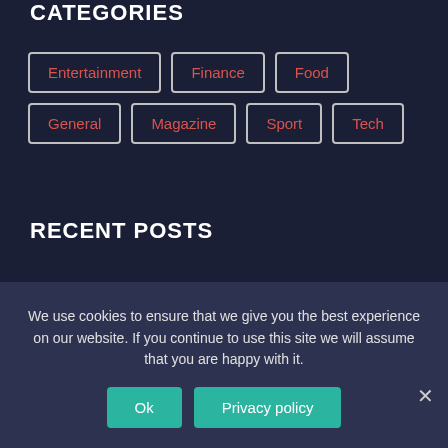CATEGORIES
Entertainment
Finance
Food
General
Magazine
Sport
Tech
RECENT POSTS
Woman (24) from Soest seriously injured in Turkish hospital after paraglide collision | Inland
We use cookies to ensure that we give you the best experience on our website. If you continue to use this site we will assume that you are happy with it.